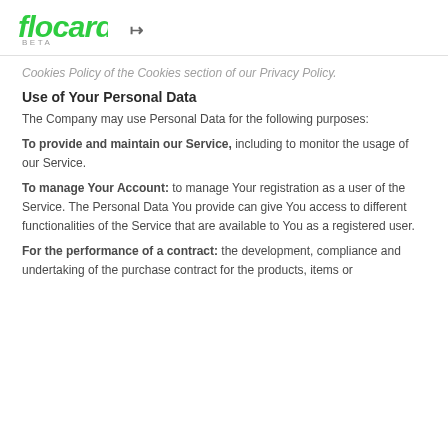Flocard BETA
Cookies Policy of the Cookies section of our Privacy Policy.
Use of Your Personal Data
The Company may use Personal Data for the following purposes:
To provide and maintain our Service, including to monitor the usage of our Service.
To manage Your Account: to manage Your registration as a user of the Service. The Personal Data You provide can give You access to different functionalities of the Service that are available to You as a registered user.
For the performance of a contract: the development, compliance and undertaking of the purchase contract for the products, items or